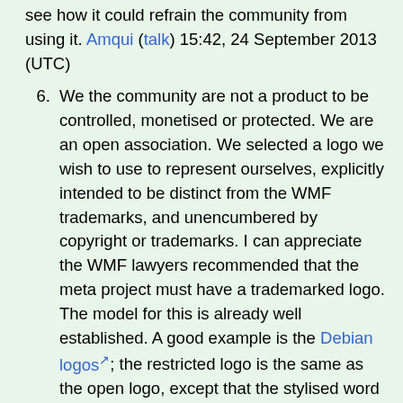see how it could refrain the community from using it. Amqui (talk) 15:42, 24 September 2013 (UTC)
We the community are not a product to be controlled, monetised or protected. We are an open association. We selected a logo we wish to use to represent ourselves, explicitly intended to be distinct from the WMF trademarks, and unencumbered by copyright or trademarks. I can appreciate the WMF lawyers recommended that the meta project must have a trademarked logo. The model for this is already well established. A good example is the Debian logos; the restricted logo is the same as the open logo, except that the stylised word 'Debian' (see U.S. trademark serial no. 86037470: 'The mark consists of A spiral formed with the style of a paintbrush stroke with the word DEBIAN written below.'). Likewise, the